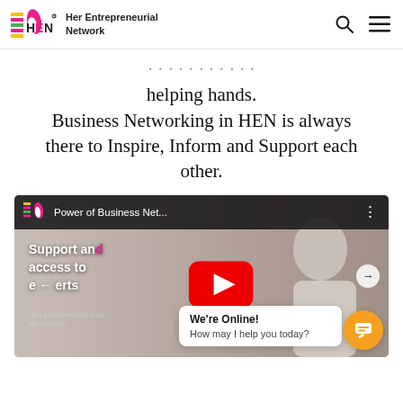HEN – Her Entrepreneurial Network
helping hands. Business Networking in HEN is always there to Inspire, Inform and Support each other.
[Figure (screenshot): YouTube video thumbnail titled 'Power of Business Net...' showing HEN logo, play button, text 'Support and access to experts', and a person in background. A chat widget shows 'We're Online! How may I help you today?']